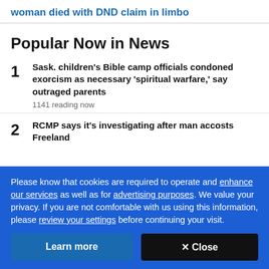woman died with DND claim in limbo
Popular Now in News
Sask. children's Bible camp officials condoned exorcism as necessary 'spiritual warfare,' say outraged parents
1141 reading now
RCMP says it's investigating after man accosts Freeland
Please know that cookies are required to operate and enhance our services as well as for advertising purposes. We value your privacy. If you are not comfortable with us using this information, please review your settings before continuing your visit.